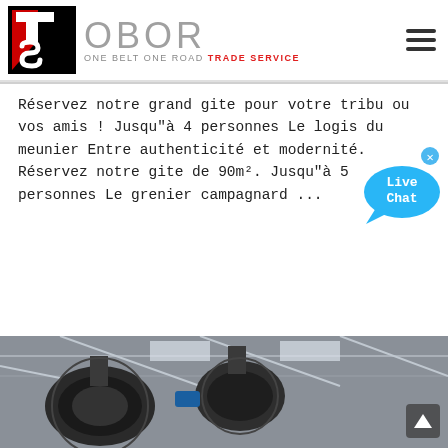[Figure (logo): OBOR Trade Service logo with TS icon (red and black) and text 'OBOR ONE BELT ONE ROAD TRADE SERVICE' in grey]
Réservez notre grand gite pour votre tribu ou vos amis ! Jusqu"à 4 personnes Le logis du meunier Entre authenticité et modernité. Réservez notre gite de 90m². Jusqu"à 5 personnes Le grenier campagnard ...
[Figure (photo): Industrial machinery photograph showing dark mechanical equipment (fans/blowers) in a warehouse or factory setting]